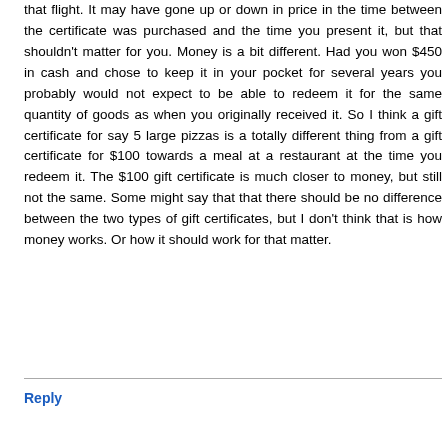that flight. It may have gone up or down in price in the time between the certificate was purchased and the time you present it, but that shouldn't matter for you. Money is a bit different. Had you won $450 in cash and chose to keep it in your pocket for several years you probably would not expect to be able to redeem it for the same quantity of goods as when you originally received it. So I think a gift certificate for say 5 large pizzas is a totally different thing from a gift certificate for $100 towards a meal at a restaurant at the time you redeem it. The $100 gift certificate is much closer to money, but still not the same. Some might say that that there should be no difference between the two types of gift certificates, but I don't think that is how money works. Or how it should work for that matter.
Reply